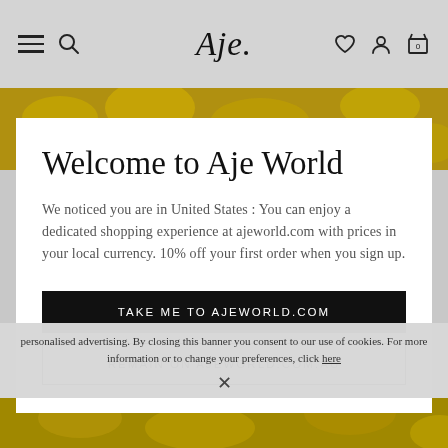Aje. [navigation bar with hamburger, search, logo, heart, account, cart icons]
[Figure (photo): Yellow flowers/foliage image strip at the top behind the modal]
Welcome to Aje World
We noticed you are in United States : You can enjoy a dedicated shopping experience at ajeworld.com with prices in your local currency. 10% off your first order when you sign up.
TAKE ME TO AJEWORLD.COM
REMAIN ON AJEWORLD.COM.AU
personalised advertising. By closing this banner you consent to our use of cookies. For more information or to change your preferences, click here
[Figure (photo): Yellow flowers/foliage image strip at the bottom]